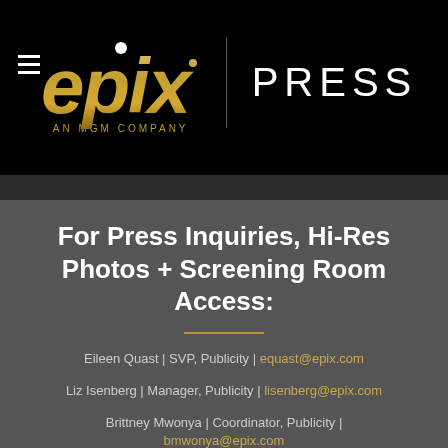[Figure (logo): EPIX Press logo — EPIX in gold italic lettering with a white dot above the i, 'AN MGM COMPANY' below in gold small caps, a vertical divider line, and 'PRESS' in white on black background]
For Press Inquiries, Hi-Res Photos + Screening Room Access:
Eileen Quast | SVP, Publicity | equast@epix.com
Liz Isenberg | Manager, Publicity | lisenberg@epix.com
Brittney Mwonya | Coordinator, Publicity | bmwonya@epix.com